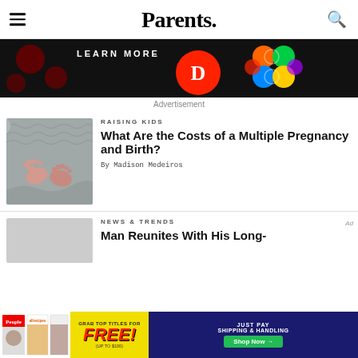Parents.
[Figure (screenshot): Dark advertisement banner with 'LEARN MORE' text, red circle with 'D' logo, and colorful geometric pattern on black background]
Advertisement
RAISING KIDS
[Figure (photo): Close-up of newborn baby feet wrapped in gray knitted blanket]
What Are the Costs of a Multiple Pregnancy and Birth?
By Madison Medeiros
NEWS & TRENDS
[Figure (photo): Gray placeholder thumbnail image]
Man Reunites With His Long-
[Figure (screenshot): Bottom advertisement banner for free magazine titles from People, allrecipes - 'GRAB TOP TITLES FOR FREE! (UP TO $100) JUST PAY SHIPPING & HANDLING Shop Now →']